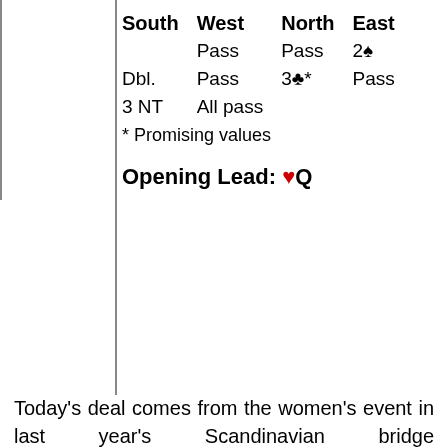| South | West | North | East |
| --- | --- | --- | --- |
|  | Pass | Pass | 2♠ |
| Dbl. | Pass | 3♣* | Pass |
| 3 NT | All pass |  |  |
* Promising values
Opening Lead: ♥Q
Today's deal comes from the women's event in last year's Scandinavian bridge championships. Against three no-trump Cecilia Rimstedt led her heart queen, ignoring her partner's suit and focusing on her own — a very good decision today. When her partner had the king and unblocked it under declarer's ace, the suit was already set up for the defenders. Trine Dahl tried to steal the club trick she needed at trick two by running the club 10. But Rimstedt won the